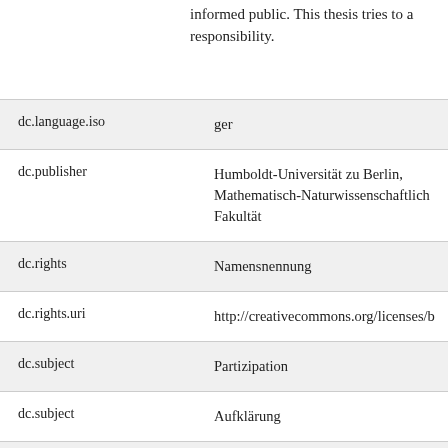informed public. This thesis tries to a responsibility.
| Key | Value |
| --- | --- |
| dc.language.iso | ger |
| dc.publisher | Humboldt-Universität zu Berlin, Mathematisch-Naturwissenschaftlich Fakultät |
| dc.rights | Namensnennung |
| dc.rights.uri | http://creativecommons.org/licenses/b |
| dc.subject | Partizipation |
| dc.subject | Aufklärung |
| dc.subject | Öffentlichkeit |